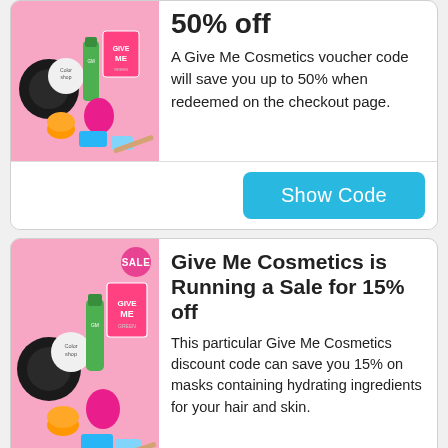[Figure (photo): Give Me Cosmetics product photo on pink background, partial top card]
50% off
A Give Me Cosmetics voucher code will save you up to 50% when redeemed on the checkout page.
Show Code
[Figure (photo): Give Me Cosmetics product photo on pink background with SALE badge, second card]
Give Me Cosmetics is Running a Sale for 15% off
This particular Give Me Cosmetics discount code can save you 15% on masks containing hydrating ingredients for your hair and skin.
Show Code